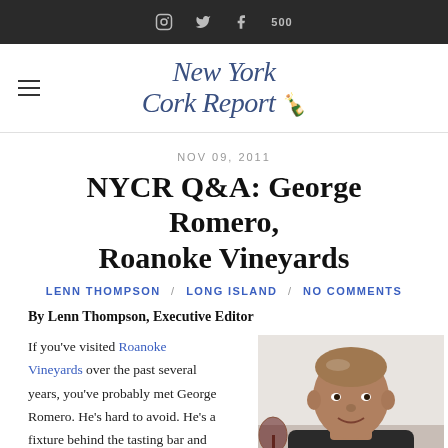New York Cork Report
NOV 09, 2011
NYCR Q&A: George Romero, Roanoke Vineyards
LENN THOMPSON / LONG ISLAND / NO COMMENTS
By Lenn Thompson, Executive Editor
If you've visited Roanoke Vineyards over the past several years, you've probably met George Romero. He's hard to avoid. He's a fixture behind the tasting bar and
[Figure (photo): Photo of George Romero, a bald man smiling, holding a wine glass, wearing a dark shirt]